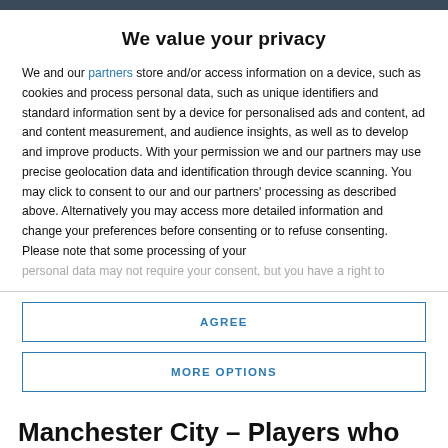We value your privacy
We and our partners store and/or access information on a device, such as cookies and process personal data, such as unique identifiers and standard information sent by a device for personalised ads and content, ad and content measurement, and audience insights, as well as to develop and improve products. With your permission we and our partners may use precise geolocation data and identification through device scanning. You may click to consent to our and our partners' processing as described above. Alternatively you may access more detailed information and change your preferences before consenting or to refuse consenting. Please note that some processing of your
personal data may not require your consent, but you have a right to
AGREE
MORE OPTIONS
Manchester City – Players who